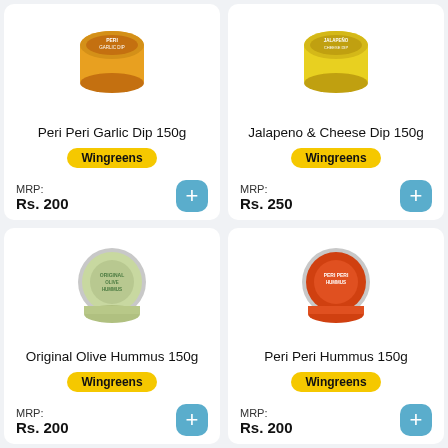[Figure (photo): Peri Peri Garlic Dip 150g product container - orange/yellow tub]
Peri Peri Garlic Dip 150g
Wingreens
MRP:
Rs. 200
[Figure (photo): Jalapeno & Cheese Dip 150g product container - yellow tub]
Jalapeno & Cheese Dip 150g
Wingreens
MRP:
Rs. 250
[Figure (photo): Original Olive Hummus 150g product container - green/grey round container]
Original Olive Hummus 150g
Wingreens
MRP:
Rs. 200
[Figure (photo): Peri Peri Hummus 150g product container - orange/red round container]
Peri Peri Hummus 150g
Wingreens
MRP:
Rs. 200